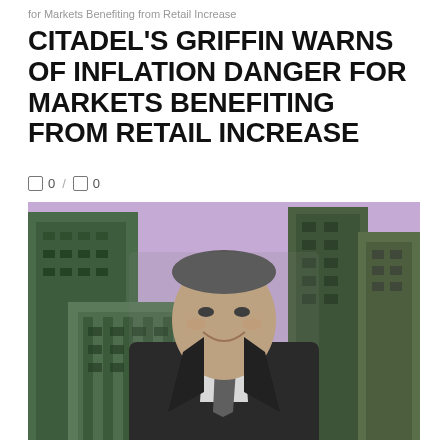for Markets Benefiting from Retail Increase
CITADEL'S GRIFFIN WARNS OF INFLATION DANGER FOR MARKETS BENEFITING FROM RETAIL INCREASE
0 / 0
[Figure (photo): Man in dark suit and tie smiling, standing in front of urban skyscrapers with purple/lavender background tint and green-tinted buildings — editorial photo composite]